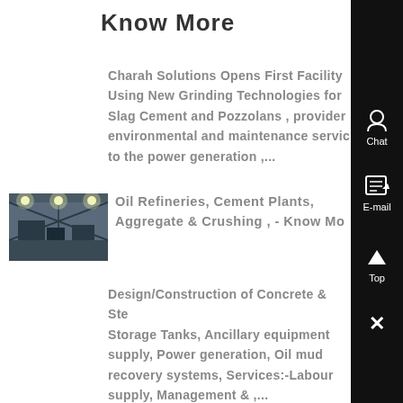Know More
Charah Solutions Opens First Facility Using New Grinding Technologies for Slag Cement and Pozzolans , provider environmental and maintenance servic to the power generation ,...
[Figure (photo): Industrial facility interior showing overhead lighting and equipment]
Oil Refineries, Cement Plants, Aggregate & Crushing , - Know Mo
Design/Construction of Concrete & Ste Storage Tanks, Ancillary equipment supply, Power generation, Oil mud recovery systems, Services:-Labour supply, Management & ,...